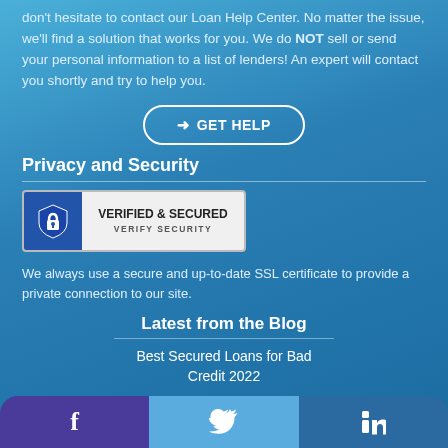don't hesitate to contact our Loan Help Center. No matter the issue, we'll find a solution that works for you. We do NOT sell or send your personal information to a list of lenders! An expert will contact you shortly and try to help you.
[Figure (infographic): GET HELP button with arrow icon, rounded pill border in white]
Privacy and Security
[Figure (logo): Verified & Secured badge with shield/lock icon on blue background, text VERIFIED & SECURED VERIFY SECURITY]
We always use a secure and up-to-date SSL certificate to provide a private connection to our site.
Latest from the Blog
Best Secured Loans for Bad Credit 2022
Best Secured Loans of 2022
[Figure (infographic): Social media bar with Facebook, Twitter, LinkedIn buttons]